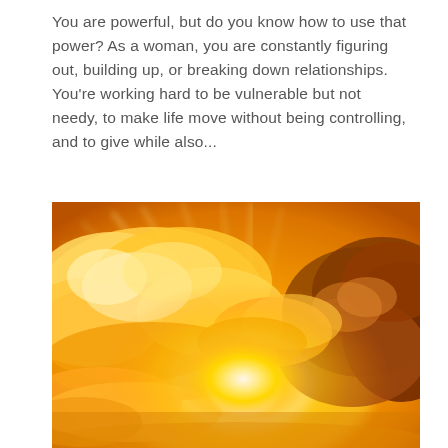You are powerful, but do you know how to use that power? As a woman, you are constantly figuring out, building up, or breaking down relationships. You're working hard to be vulnerable but not needy, to make life move without being controlling, and to give while also...
[Figure (photo): A dramatic golden sunset photo showing bright sunbeams bursting through large, glowing orange and golden clouds against a warm amber sky. The sun is partially hidden behind clouds on the right side, creating radiating light rays.]